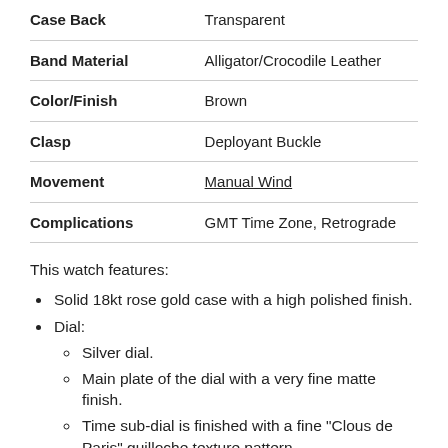| Property | Value |
| --- | --- |
| Case Back | Transparent |
| Band Material | Alligator/Crocodile Leather |
| Color/Finish | Brown |
| Clasp | Deployant Buckle |
| Movement | Manual Wind |
| Complications | GMT Time Zone, Retrograde |
This watch features:
Solid 18kt rose gold case with a high polished finish.
Dial:
Silver dial.
Main plate of the dial with a very fine matte finish.
Time sub-dial is finished with a fine "Clous de Paris" guilloche texture pattern.
Dial perimeter & GMT Timezone sub-dial is finished with circular satin finish.